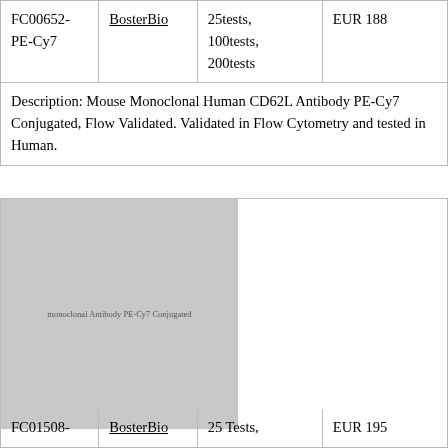| FC00652-PE-Cy7 | BosterBio | 25tests,
100tests,
200tests | EUR 188 |
Description: Mouse Monoclonal Human CD62L Antibody PE-Cy7 Conjugated, Flow Validated. Validated in Flow Cytometry and tested in Human.
[Figure (photo): Gray placeholder image for Anti-Human CD33 Monoclonal Antibody PE-Cy7 Conjugated product with small watermark text]
Anti-Human CD33 Monoclonal Antibody PE-Cy7 Conjugated, Flow Validated
| FC01508- | BosterBio | 25 Tests, | EUR 195 |